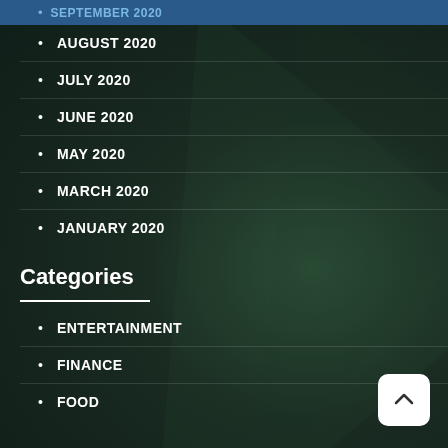SEPTEMBER 2020
AUGUST 2020
JULY 2020
JUNE 2020
MAY 2020
MARCH 2020
JANUARY 2020
Categories
ENTERTAINMENT
FINANCE
FOOD